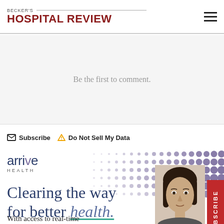BECKER'S HOSPITAL REVIEW
Be the first to comment.
Subscribe   Do Not Sell My Data
[Figure (logo): arrive health logo with purple dot accent and subtitle HEALTH]
Clearing the way for better health.
With access to real-time
[Figure (photo): Woman with dark hair, partial face visible at bottom right of advertisement]
SUBSCRIBE